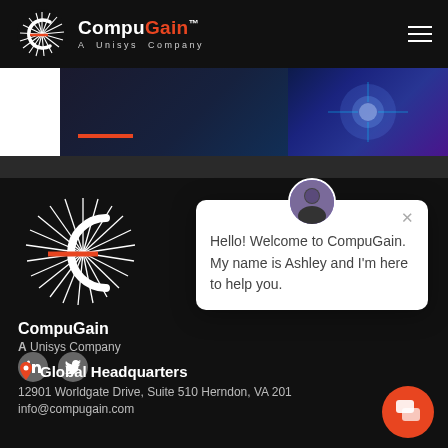CompuGain™ A Unisys Company
[Figure (screenshot): Hero banner partial view with red underline and tech/circuit board image on dark blue background]
[Figure (logo): CompuGain logo - radial burst C icon in white on black, with orange accent line]
CompuGain
A Unisys Company
[Figure (other): LinkedIn and Twitter social media icon buttons in gray circles]
[Figure (other): Chat widget popup with avatar photo of Ashley. Text: Hello! Welcome to CompuGain. My name is Ashley and I'm here to help you.]
Hello! Welcome to CompuGain. My name is Ashley and I'm here to help you.
Global Headquarters
12901 Worldgate Drive, Suite 510 Herndon, VA 201
info@compugain.com